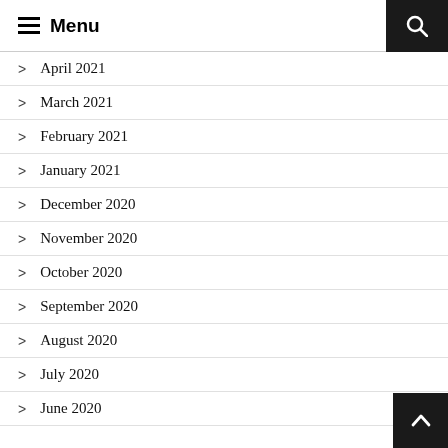Menu
April 2021
March 2021
February 2021
January 2021
December 2020
November 2020
October 2020
September 2020
August 2020
July 2020
June 2020